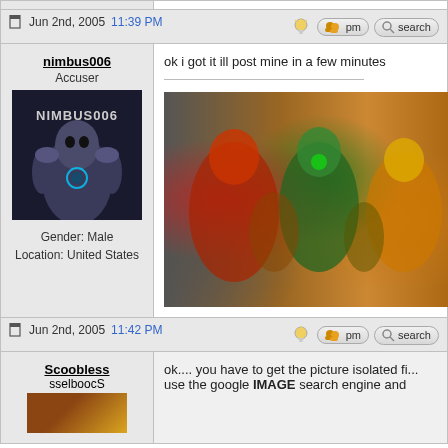Jun 2nd, 2005 11:39 PM
[Figure (screenshot): Forum action icons: bulb icon, pm button with user icons, search button with magnifier icon]
[Figure (illustration): Comic book artwork showing costumed superheroes including a red-suited figure, green lantern, and others in action poses]
nimbus006 - Accuser. Gender: Male. Location: United States
ok i got it ill post mine in a few minutes
Jun 2nd, 2005 11:42 PM
[Figure (screenshot): Forum action icons: bulb icon, pm button with user icons, search button with magnifier icon]
Scoobless - sselboocS
ok.... you have to get the picture isolated fi... use the google IMAGE search engine and